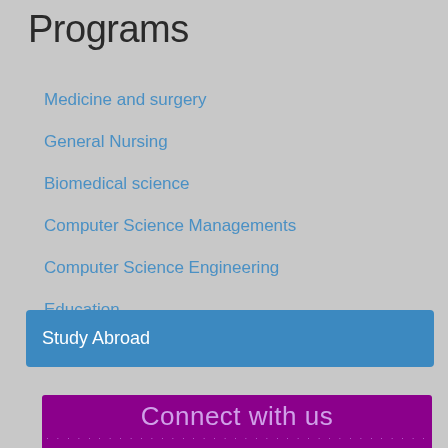Programs
Medicine and surgery
General Nursing
Biomedical science
Computer Science Managements
Computer Science Engineering
Education
Study Abroad
Connect with us